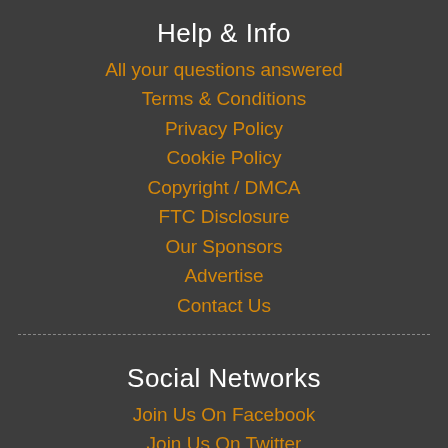Help & Info
All your questions answered
Terms & Conditions
Privacy Policy
Cookie Policy
Copyright / DMCA
FTC Disclosure
Our Sponsors
Advertise
Contact Us
Social Networks
Join Us On Facebook
Join Us On Twitter
Join Us On Youtube
Join Us On Instagram
Join Us On Soundcloud